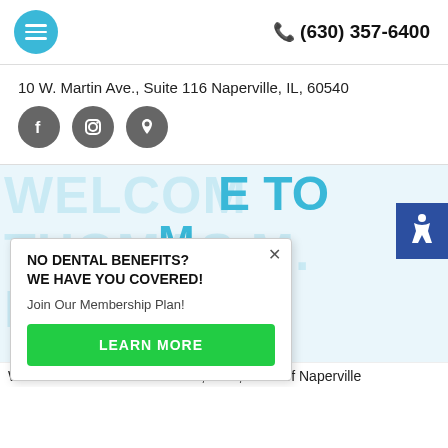(630) 357-6400
10 W. Martin Ave., Suite 116 Naperville, IL, 60540
[Figure (other): Social media icon circles: Facebook, Instagram, Location/Map pin]
[Figure (other): Hero section with large teal text partially visible: WELCOME TO THOMAS M. PIAZZA DDS, overlaid by a popup modal]
NO DENTAL BENEFITS?
WE HAVE YOU COVERED!
Join Our Membership Plan!
LEARN MORE
Welcome to Thomas M. Piazza, DDS, office of Naperville